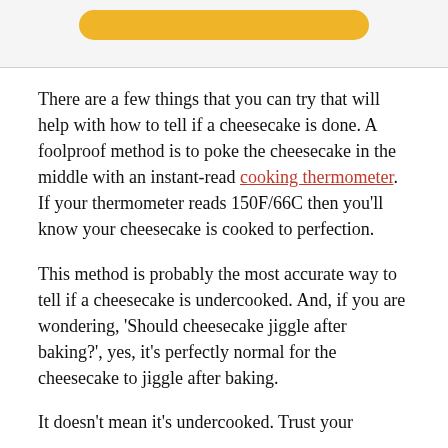[Figure (other): Top banner area with a yellow rounded button/bar partially visible at the top of a light gray box]
There are a few things that you can try that will help with how to tell if a cheesecake is done. A foolproof method is to poke the cheesecake in the middle with an instant-read cooking thermometer. If your thermometer reads 150F/66C then you'll know your cheesecake is cooked to perfection.
This method is probably the most accurate way to tell if a cheesecake is undercooked. And, if you are wondering, 'Should cheesecake jiggle after baking?', yes, it's perfectly normal for the cheesecake to jiggle after baking.
It doesn't mean it's undercooked. Trust your